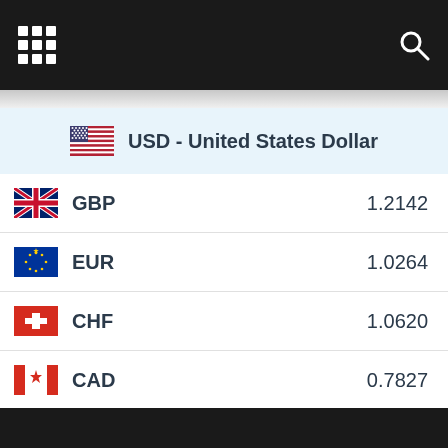[Figure (screenshot): Currency exchange rate app screenshot showing USD as base currency with rates for GBP, EUR, CHF, CAD, AUD, JPY]
USD - United States Dollar
| Currency | Rate |
| --- | --- |
| GBP | 1.2142 |
| EUR | 1.0264 |
| CHF | 1.0620 |
| CAD | 0.7827 |
| AUD | 0.7127 |
| JPY | 0.0075 |